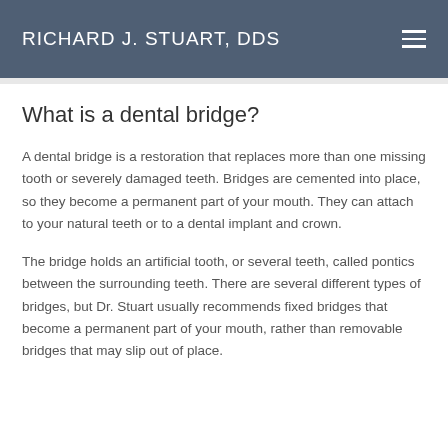RICHARD J. STUART, DDS
What is a dental bridge?
A dental bridge is a restoration that replaces more than one missing tooth or severely damaged teeth. Bridges are cemented into place, so they become a permanent part of your mouth. They can attach to your natural teeth or to a dental implant and crown.
The bridge holds an artificial tooth, or several teeth, called pontics between the surrounding teeth. There are several different types of bridges, but Dr. Stuart usually recommends fixed bridges that become a permanent part of your mouth, rather than removable bridges that may slip out of place.